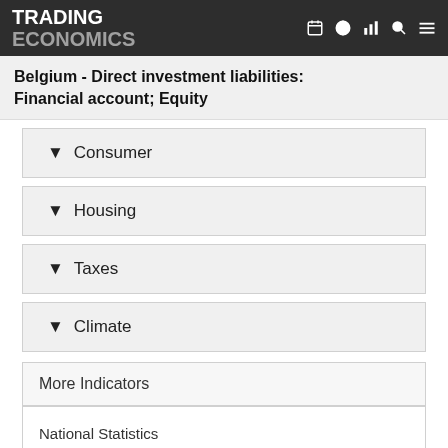TRADING ECONOMICS
Belgium - Direct investment liabilities: Financial account; Equity
Consumer
Housing
Taxes
Climate
More Indicators
National Statistics
EUROSTAT
World Bank